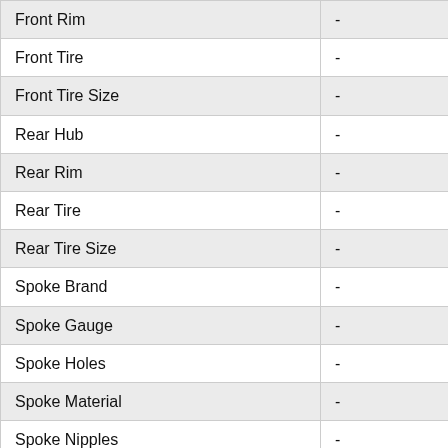| Attribute | Value |
| --- | --- |
| Front Rim | - |
| Front Tire | - |
| Front Tire Size | - |
| Rear Hub | - |
| Rear Rim | - |
| Rear Tire | - |
| Rear Tire Size | - |
| Spoke Brand | - |
| Spoke Gauge | - |
| Spoke Holes | - |
| Spoke Material | - |
| Spoke Nipples | - |
| Spoke Type | - |
| Available Sizes | 18 inch |
| Brand | Jeep |
| Component Group | - |
| [partial row] | Monroe |